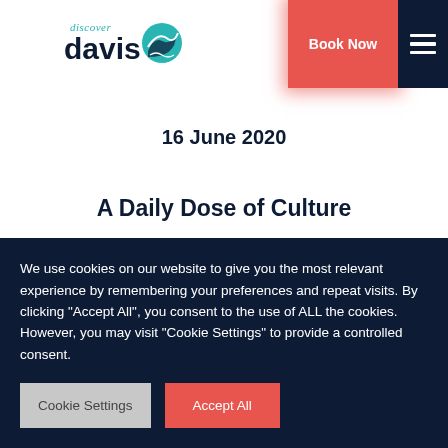[Figure (logo): Discover Davis logo with teal leaf/wave icon and 'discover davis' text in teal and navy]
[Figure (other): Book Now button in coral/red on dark navy header bar]
16 June 2020
A Daily Dose of Culture
We use cookies on our website to give you the most relevant experience by remembering your preferences and repeat visits. By clicking "Accept All", you consent to the use of ALL the cookies. However, you may visit "Cookie Settings" to provide a controlled consent.